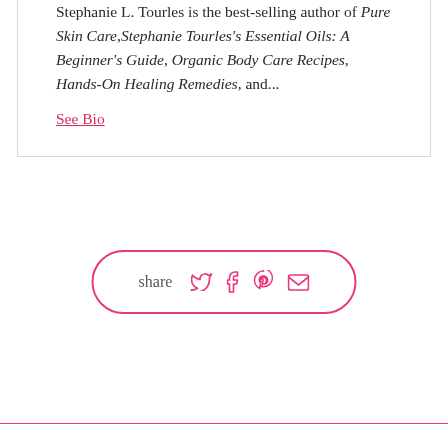Stephanie L. Tourles is the best-selling author of Pure Skin Care, Stephanie Tourles's Essential Oils: A Beginner's Guide, Organic Body Care Recipes, Hands-On Healing Remedies, and...
See Bio
[Figure (infographic): Share button pill with social media icons: Twitter, Facebook, Pinterest, Email — pink outlined rounded rectangle with 'share' label]